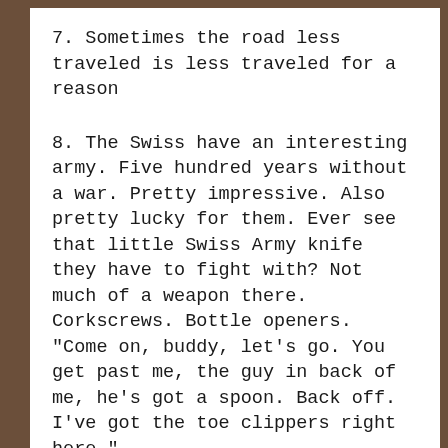7. Sometimes the road less traveled is less traveled for a reason
8. The Swiss have an interesting army. Five hundred years without a war. Pretty impressive. Also pretty lucky for them. Ever see that little Swiss Army knife they have to fight with? Not much of a weapon there. Corkscrews. Bottle openers. "Come on, buddy, let's go. You get past me, the guy in back of me, he's got a spoon. Back off. I've got the toe clippers right here."
9. Seems to me the basic conflict between men and women, sexually, is that men are like firemen. To men, sex is an emergency, and no matter what we're doing we can drop everything...